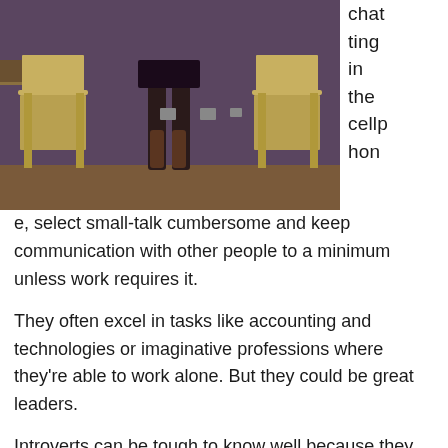[Figure (photo): A person standing in a room with folding chairs against a wall with tiles. Only the person's legs are visible below a dark skirt.]
chatting in the cellphone, select small-talk cumbersome and keep communication with other people to a minimum unless work requires it.
They often excel in tasks like accounting and technologies or imaginative professions where they're able to work alone. But they could be great leaders.
Introverts can be tough to know well because they enable not too many inside their interior sectors. Most are quite shy and set aside to certain degrees.